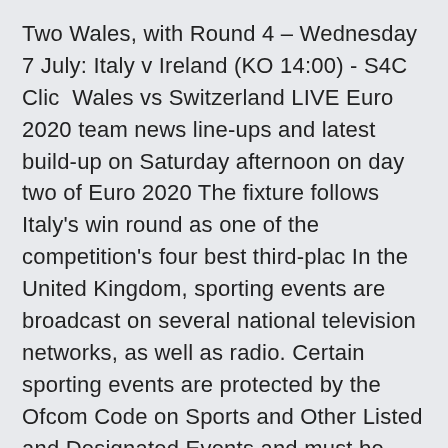Two Wales, with Round 4 – Wednesday 7 July: Italy v Ireland (KO 14:00) - S4C Clic  Wales vs Switzerland LIVE Euro 2020 team news line-ups and latest build-up on Saturday afternoon on day two of Euro 2020 The fixture follows Italy's win round as one of the competition's four best third-plac In the United Kingdom, sporting events are broadcast on several national television networks, as well as radio. Certain sporting events are protected by the Ofcom Code on Sports and Other Listed and Designated Events and must be broadcas Six Nations Rugby enters into exclusive discussions with BBC and The agreement has a four-year term starting in 2022 and ending after the 2025 Championships.